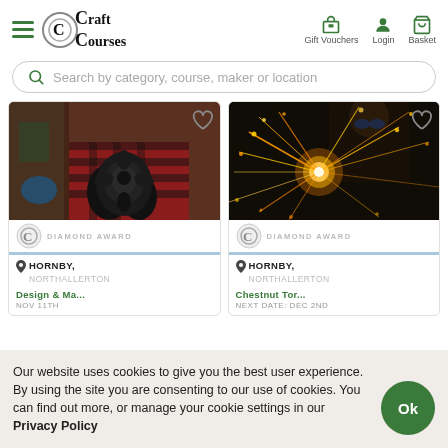Craft Courses — Gift Vouchers, Login, Basket
Search by category, course, maker or location
[Figure (photo): Person in plaid shirt holding a handmade black metal rose sculpture in a workshop]
DIAMOND AWARD
HORNBY, NORTHALLERTON
Design & Ma...
NOV 11TH
[Figure (photo): Person welding with bright sparks flying in a dark workshop]
DIAMOND AWARD
HORNBY, NORTHALLERTON
Chestnut Tor...
NEXT DATE: DEC 2ND
Our website uses cookies to give you the best user experience. By using the site you are consenting to our use of cookies. You can find out more, or manage your cookie settings in our Privacy Policy